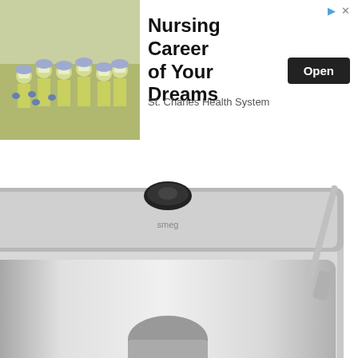[Figure (photo): Advertisement banner: nurses in yellow PPE gowns on left; text 'Nursing Career of Your Dreams' with 'St. Charles Health System' subtitle and 'Open' button on right]
[Figure (photo): Smeg ecf01 espresso machine in stainless steel with two double-walled glass cups filled with espresso, and a stainless steel milk frothing jug beside it]
Source: www.thegoodguys.com.au
Smeg ecf01 espresso machine, £320; Keep your coffee station neat and tidy with this coffee pod storage door, perfect for sliding under your coffee machine.